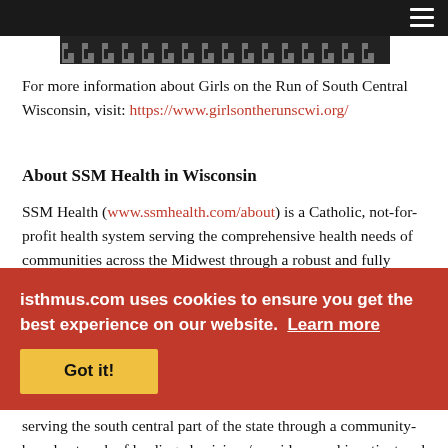For more information about Girls on the Run of South Central Wisconsin, visit: https://www.girlsontherunscwi.org/
About SSM Health in Wisconsin
SSM Health (www.ssmhealth.com/about) is a Catholic, not-for-profit health system serving the comprehensive health needs of communities across the Midwest through a robust and fully integrated health care delivery system. The organization's more than 40,000 employees and physicians are committed to providing exceptional health care services and revealing God's healing presence to everyone they serve.
In Wisconsin, SSM Health employs approximately 11,300 people, serving the south central part of the state through a community-based network of leading physicians/providers, and inpatient and outpatient care facilities. The organization provides high-quality coordinated care across seven hospitals, ten post-acute care facilities, and more than 85 physician offices and other outpatient
isthmus.com uses cookies to ensure you get the best experience on our website. Learn more
Got it!